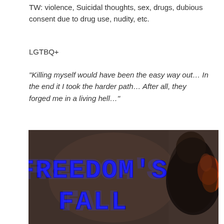TW: violence, Suicidal thoughts, sex, drugs, dubious consent due to drug use, nudity, etc.
LGTBQ+
“Killing myself would have been the easy way out… In the end it I took the harder path… After all, they forged me in a living hell…”
[Figure (illustration): Book cover for 'Freedom's Fall' showing bold blue stylized text on a dark moody background with a figure (person from behind) with glowing red/orange elements on the right side.]